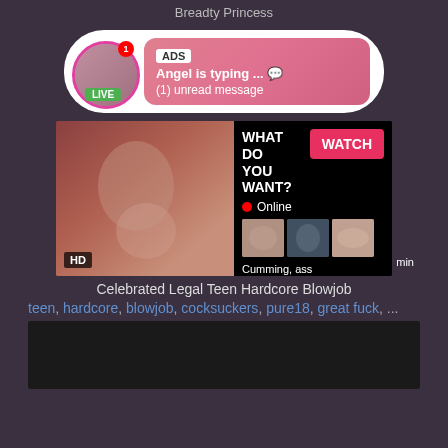Breadty Princess
[Figure (infographic): Ad notification bubble with avatar showing LIVE badge, pink gradient message box saying 'ADS Angel is typing ... (1) unread message']
[Figure (infographic): Video advertisement showing woman, with 'WHAT DO YOU WANT? WATCH' text, Online indicator, three thumbnail images, and text 'Cumming, ass fucking, squirt or... • ADS']
Celebrated Legal Teen Hardcore Blowjob
teen, hardcore, blowjob, cocksuckers, pure18, great fuck, ...